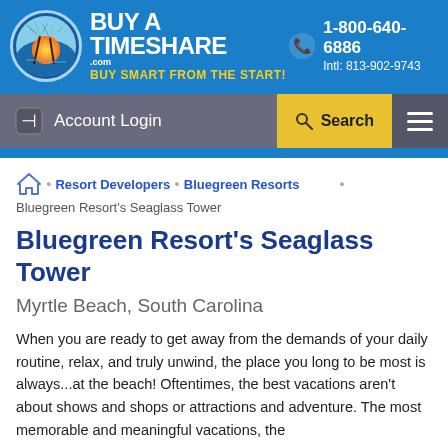[Figure (logo): BuyATimeshare.com logo with palm tree sunset circle icon and tagline BUY SMART FROM THE START!]
1-800-640-6886 Intl: 813-902-9743
Account Login
Search
Resort Developers • Bluegreen Resorts • Bluegreen Resort's Seaglass Tower
Bluegreen Resort's Seaglass Tower
Myrtle Beach, South Carolina
When you are ready to get away from the demands of your daily routine, relax, and truly unwind, the place you long to be most is always...at the beach! Oftentimes, the best vacations aren't about shows and shops or attractions and adventure. The most memorable and meaningful vacations, the
Read More